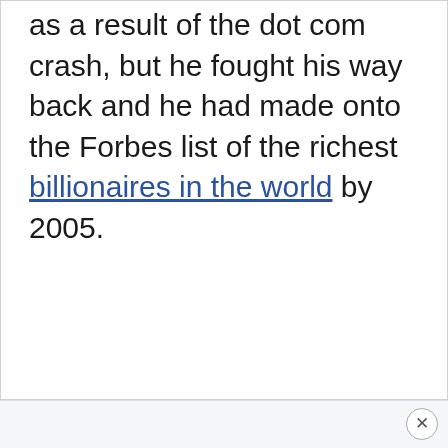as a result of the dot com crash, but he fought his way back and he had made onto the Forbes list of the richest billionaires in the world by 2005.